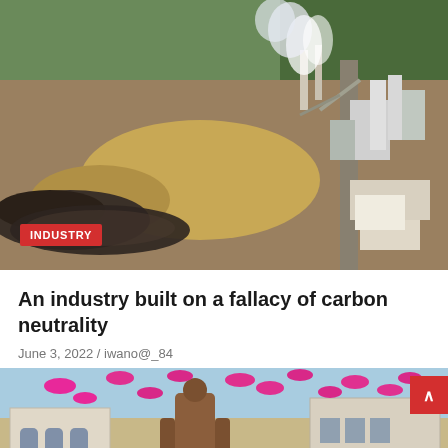[Figure (photo): Aerial view of an industrial facility with smokestacks emitting white smoke, surrounded by large piles of wood chips or similar material, with roads and forest in the background.]
INDUSTRY
An industry built on a fallacy of carbon neutrality
June 3, 2022 / iwano@_84
[Figure (photo): Outdoor scene of a town square or street with pink umbrellas floating in the air above buildings. A bronze statue of a muscular figure is visible in the foreground.]